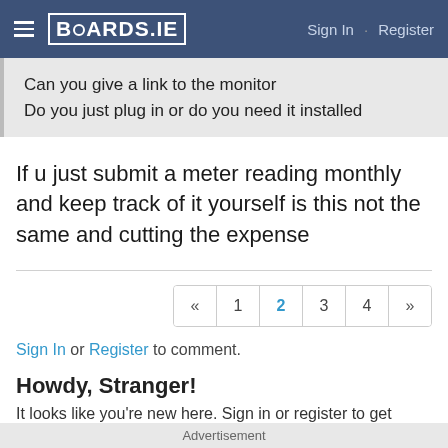BOARDS.IE  Sign In · Register
Can you give a link to the monitor
Do you just plug in or do you need it installed
If u just submit a meter reading monthly and keep track of it yourself is this not the same and cutting the expense
« 1 2 3 4 »
Sign In or Register to comment.
Howdy, Stranger!
It looks like you're new here. Sign in or register to get started.
Sign In  Register
Advertisement